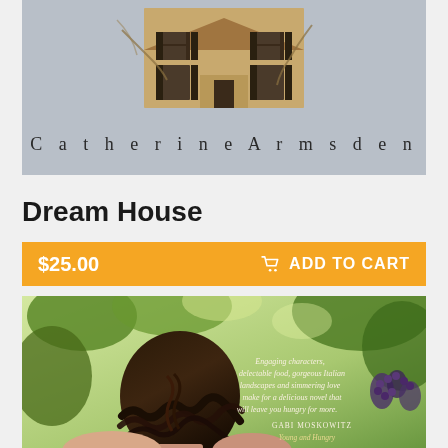[Figure (photo): Book cover showing a house illustration on a gray background with author name 'Catherine Armsden' in serif text below the house image]
Dream House
$25.00  ADD TO CART
[Figure (photo): Book cover showing a woman with dark wavy hair from behind, surrounded by green foliage/grapevines, with a review quote reading 'Engaging characters, delectable food, gorgeous Italian landscapes and simmering love make for a delicious novel that will leave you hungry for more. — GABI MOSKOWITZ, Young and Hungry']